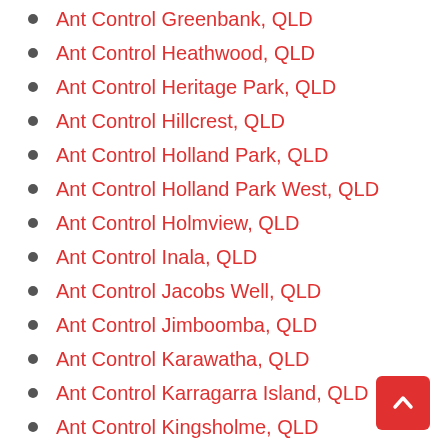Ant Control Greenbank, QLD
Ant Control Heathwood, QLD
Ant Control Heritage Park, QLD
Ant Control Hillcrest, QLD
Ant Control Holland Park, QLD
Ant Control Holland Park West, QLD
Ant Control Holmview, QLD
Ant Control Inala, QLD
Ant Control Jacobs Well, QLD
Ant Control Jimboomba, QLD
Ant Control Karawatha, QLD
Ant Control Karragarra Island, QLD
Ant Control Kingsholme, QLD
Ant Control Kingston, QLD
Ant Control Kuraby, QLD